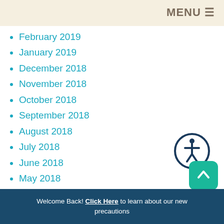MENU
February 2019
January 2019
December 2018
November 2018
October 2018
September 2018
August 2018
July 2018
June 2018
May 2018
April 2018
March 2018
February 2018
January 2018
[Figure (illustration): Accessibility icon: circular dark blue border with white human figure symbol]
Welcome Back! Click Here to learn about our new precautions